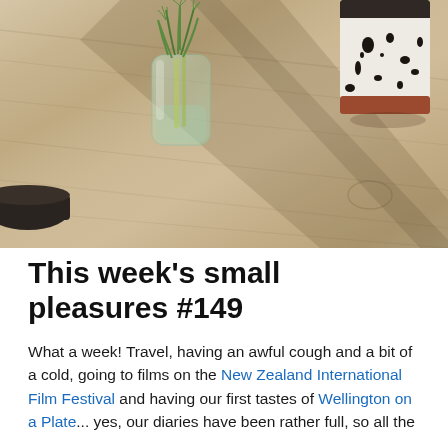[Figure (photo): Photo of a wooden table surface with sunlight casting diagonal shadows. A clear glass vase with green herbs/dill is in the center-left, a black and white speckled ceramic mug is on the right, and a dark bowl appears on the far left edge.]
This week's small pleasures #149
What a week! Travel, having an awful cough and a bit of a cold, going to films on the New Zealand International Film Festival and having our first tastes of Wellington on a Plate... yes, our diaries have been rather full, so all the